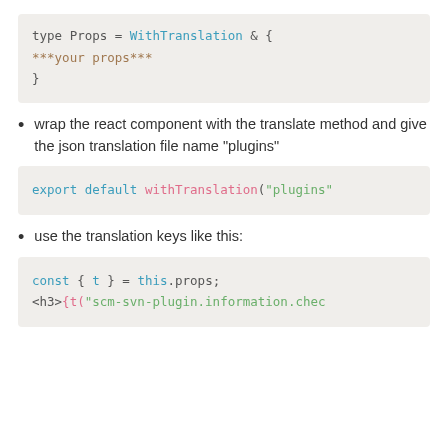[Figure (screenshot): Code block showing TypeScript type Props definition: type Props = WithTranslation & { ***your props*** }]
wrap the react component with the translate method and give the json translation file name "plugins"
[Figure (screenshot): Code block showing: export default withTranslation("plugins"]
use the translation keys like this:
[Figure (screenshot): Code block showing: const { t } = this.props; <h3>{t("scm-svn-plugin.information.chec]